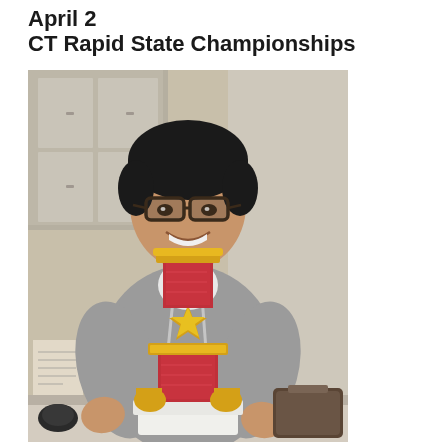April 2
CT Rapid State Championships
[Figure (photo): A young man wearing glasses and a gray hoodie sweatshirt, smiling and holding a large red and gold trophy with two tiers. He is standing in what appears to be an indoor room with cabinets in the background. A camera bag is visible on the right side.]